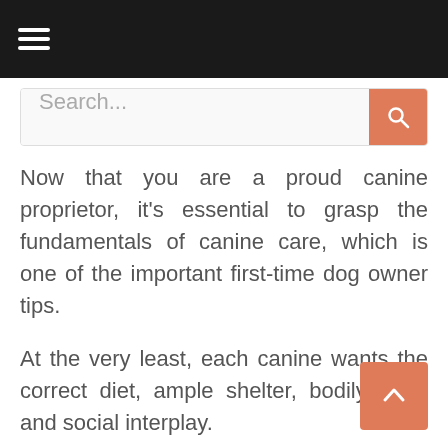☰
Search...
Now that you are a proud canine proprietor, it's essential to grasp the fundamentals of canine care, which is one of the important first-time dog owner tips.
At the very least, each canine wants the correct diet, ample shelter, bodily care, and social interplay.
As soon as you possibly can cowl the fundamentals, you will be in your technique of giving your canine an incredible life.
Studying to find out how to present on your canine upfront will make it a lot simpler as soon as your